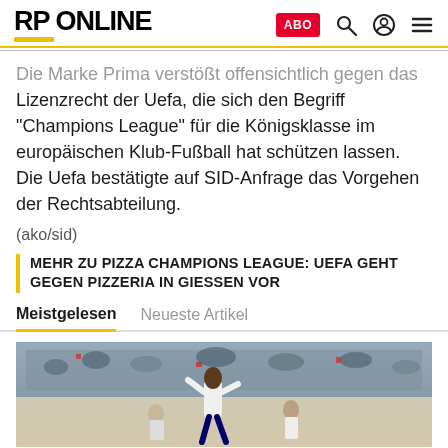RP ONLINE
Die Marke Prima verstößt offensichtlich gegen das Lizenzrecht der Uefa, die sich den Begriff "Champions League" für die Königsklasse im europäischen Klub-Fußball hat schützen lassen. Die Uefa bestätigte auf SID-Anfrage das Vorgehen der Rechtsabteilung.
(ako/sid)
MEHR ZU PIZZA CHAMPIONS LEAGUE: UEFA GEHT GEGEN PIZZERIA IN GIESSEN VOR
Meistgelesen  Neueste Artikel
[Figure (photo): Football player celebrating in white jersey at a stadium with crowd in background]